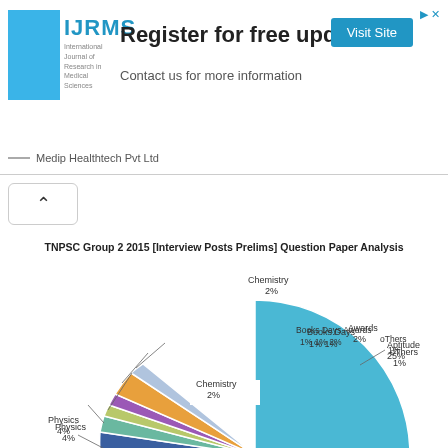[Figure (screenshot): Advertisement banner for IJRMS (International Journal of Research in Medical Sciences) by Medip Healthtech Pvt Ltd. Text: Register for free update. Contact us for more information. Visit Site button.]
[Figure (pie-chart): TNPSC Group 2 2015 [Interview Posts Prelims] Question Paper Analysis]